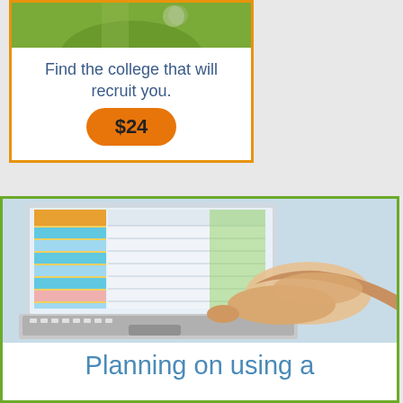[Figure (photo): Sports photo at top of card, cropped — athlete with soccer ball in background]
Find the college that will recruit you.
$24
[Figure (photo): Person's hand pointing at a laptop trackpad, with a spreadsheet/data visible on the laptop screen]
Planning on using a